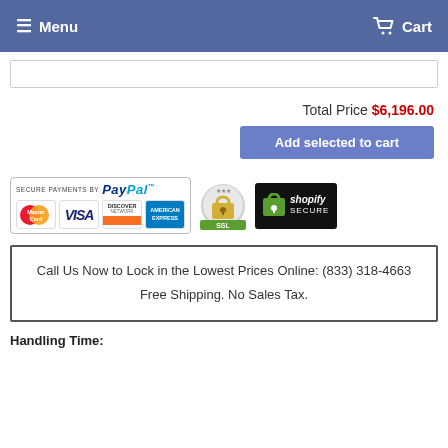Menu  Cart
Total Price $6,196.00
Add selected to cart
[Figure (other): Secure payment badges: PayPal, MasterCard, Visa, Discover, American Express, SSL badge, Shopify Secure]
Call Us Now to Lock in the Lowest Prices Online: (833) 318-4663
Free Shipping. No Sales Tax.
Handling Time: